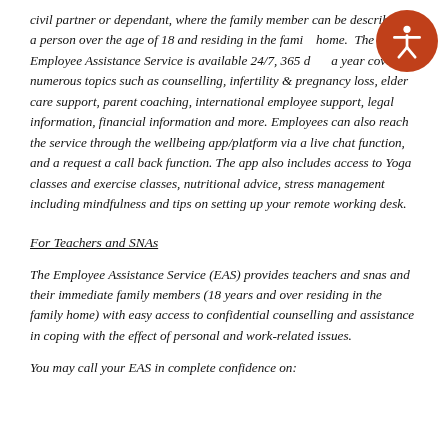civil partner or dependant, where the family member can be described as a person over the age of 18 and residing in the family home. The Employee Assistance Service is available 24/7, 365 days a year covering numerous topics such as counselling, infertility & pregnancy loss, elder care support, parent coaching, international employee support, legal information, financial information and more. Employees can also reach the service through the wellbeing app/platform via a live chat function, and a request a call back function. The app also includes access to Yoga classes and exercise classes, nutritional advice, stress management including mindfulness and tips on setting up your remote working desk.
For Teachers and SNAs
The Employee Assistance Service (EAS) provides teachers and snas and their immediate family members (18 years and over residing in the family home) with easy access to confidential counselling and assistance in coping with the effect of personal and work-related issues.
You may call your EAS in complete confidence on: